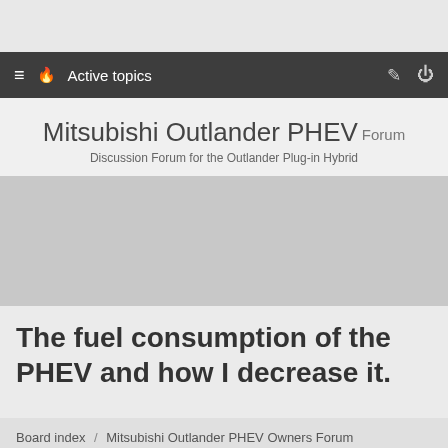≡  🔥 Active topics
Mitsubishi Outlander PHEV Forum
Discussion Forum for the Outlander Plug-in Hybrid
[Figure (other): Gray advertisement or banner image area]
The fuel consumption of the PHEV and how I decrease it.
Board index / Mitsubishi Outlander PHEV Owners Forum / General / Main Outlander PHEV Owners Forum